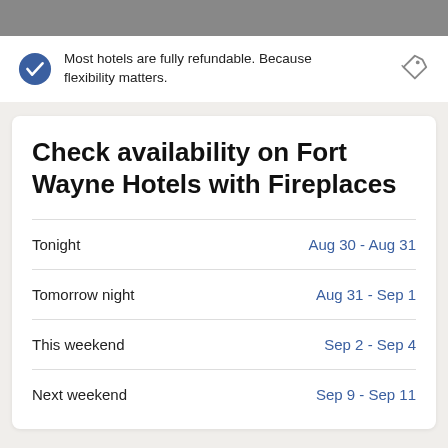Most hotels are fully refundable. Because flexibility matters.
Check availability on Fort Wayne Hotels with Fireplaces
|  |  |
| --- | --- |
| Tonight | Aug 30 - Aug 31 |
| Tomorrow night | Aug 31 - Sep 1 |
| This weekend | Sep 2 - Sep 4 |
| Next weekend | Sep 9 - Sep 11 |